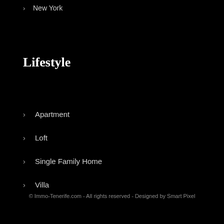New York
Lifestyle
Apartment
Loft
Single Family Home
Villa
© Immo-Tenerife.com - All rights reserved - Designed by Smart Pixel